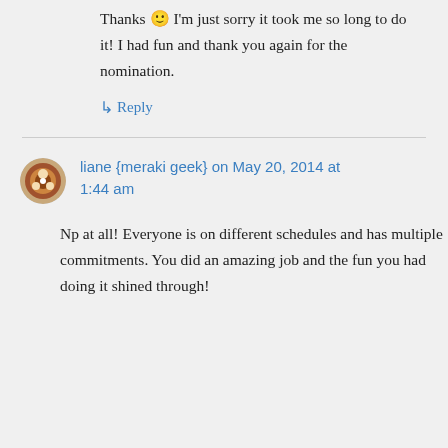Thanks 🙂 I'm just sorry it took me so long to do it! I had fun and thank you again for the nomination.
↳ Reply
liane {meraki geek} on May 20, 2014 at 1:44 am
Np at all! Everyone is on different schedules and has multiple commitments. You did an amazing job and the fun you had doing it shined through!